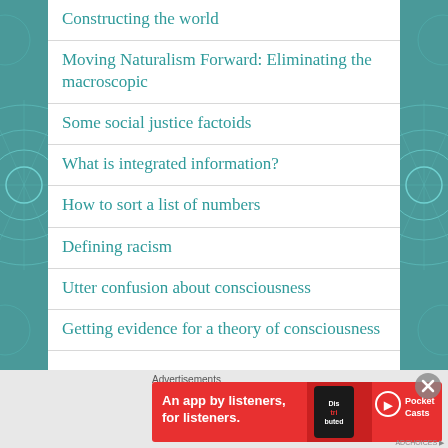Constructing the world
Moving Naturalism Forward: Eliminating the macroscopic
Some social justice factoids
What is integrated information?
How to sort a list of numbers
Defining racism
Utter confusion about consciousness
Getting evidence for a theory of consciousness
[Figure (screenshot): Pocket Casts advertisement banner: red background with text 'An app by listeners, for listeners.' and Pocket Casts logo with phone graphic]
Advertisements